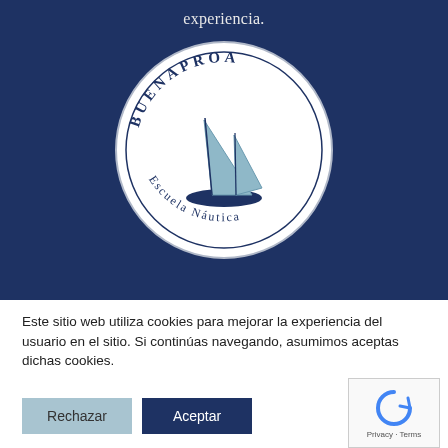experiencia.
[Figure (logo): Buenaproa Escuela Náutica circular logo with sailboat illustration and text curved around the circle reading BUENAPROA on top and Escuela Náutica on bottom]
Este sitio web utiliza cookies para mejorar la experiencia del usuario en el sitio. Si continúas navegando, asumimos aceptas dichas cookies.
Rechazar
Aceptar